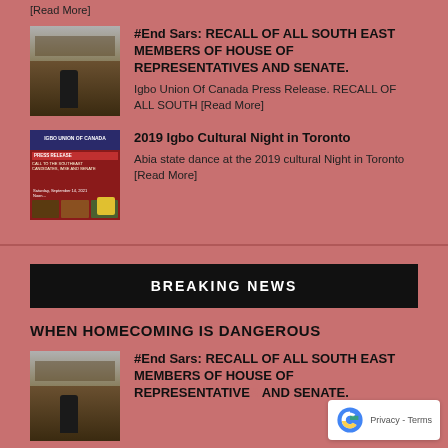[Read More]
#End Sars: RECALL OF ALL SOUTH EAST MEMBERS OF HOUSE OF REPRESENTATIVES AND SENATE.
Igbo Union Of Canada Press Release. RECALL OF ALL SOUTH [Read More]
2019 Igbo Cultural Night in Toronto
Abia state dance at the 2019 cultural Night in Toronto [Read More]
BREAKING NEWS
WHEN HOMECOMING IS DANGEROUS
#End Sars: RECALL OF ALL SOUTH EAST MEMBERS OF HOUSE OF REPRESENTATIVES AND SENATE.